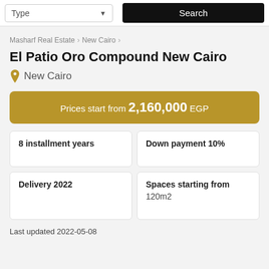Type | Search
Masharf Real Estate > New Cairo >
El Patio Oro Compound New Cairo
New Cairo
Prices start from 2,160,000 EGP
8 installment years
Down payment 10%
Delivery 2022
Spaces starting from
120m2
Last updated 2022-05-08